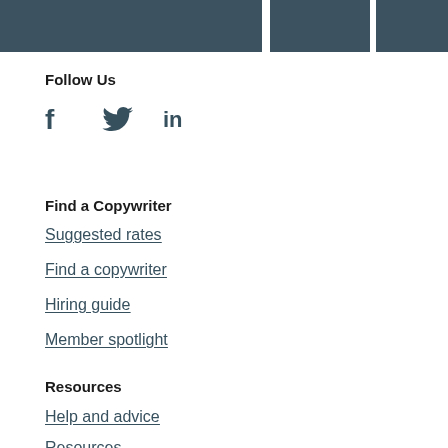Follow Us
[Figure (illustration): Social media icons: Facebook (f), Twitter (bird), LinkedIn (in)]
Find a Copywriter
Suggested rates
Find a copywriter
Hiring guide
Member spotlight
Resources
Help and advice
Resources